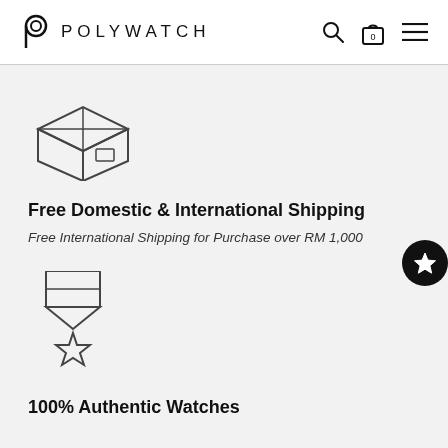POLYWATCH
[Figure (illustration): Box/package icon outline]
Free Domestic & International Shipping
Free International Shipping for Purchase over RM 1,000
[Figure (illustration): Medal/award icon outline with star]
100% Authentic Watches